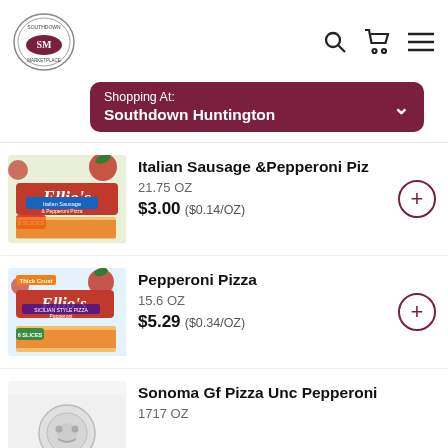[Figure (logo): Southdown Marketplace logo - oval shaped logo with SM initials]
[Figure (screenshot): Shopping At: Southdown Huntington store selector button with dropdown chevron]
[Figure (photo): Ellio's Italian Sausage & Pepperoni Pizza box, 9 slices]
Italian Sausage &Pepperoni Piz
21.75 OZ
$3.00 ($0.14/OZ)
[Figure (photo): Ellio's Thick Crust Pepperoni Pizza box, 6 slices, Sicilian Style]
Pepperoni Pizza
15.6 OZ
$5.29 ($0.34/OZ)
[Figure (photo): Sonoma Gf Pizza Unc Pepperoni product image, partial]
Sonoma Gf Pizza Unc Pepperoni
1717 OZ